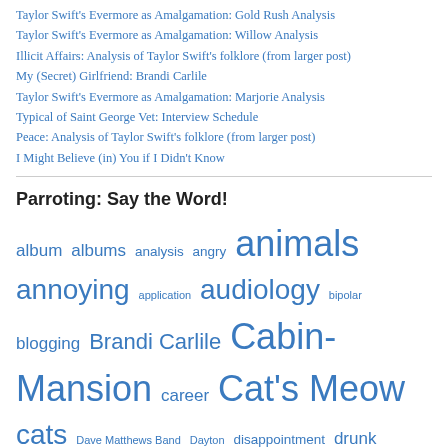Taylor Swift's Evermore as Amalgamation: Gold Rush Analysis
Taylor Swift's Evermore as Amalgamation: Willow Analysis
Illicit Affairs: Analysis of Taylor Swift's folklore (from larger post)
My (Secret) Girlfriend: Brandi Carlile
Taylor Swift's Evermore as Amalgamation: Marjorie Analysis
Typical of Saint George Vet: Interview Schedule
Peace: Analysis of Taylor Swift's folklore (from larger post)
I Might Believe (in) You if I Didn't Know
Parroting: Say the Word!
album albums analysis angry animals annoying application audiology bipolar blogging Brandi Carlile Cabin-Mansion career Cat's Meow cats Dave Matthews Band Dayton disappointment drunk education fear feminism food frustrated gay goals holiday housing indigo girls Kidron Kim